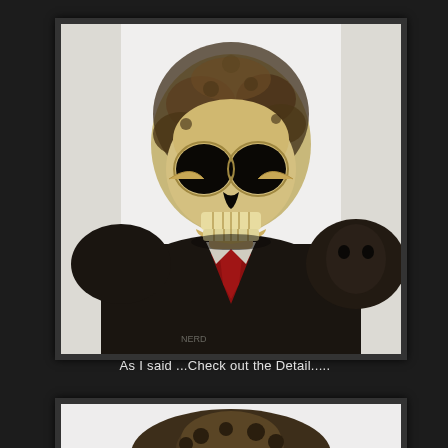[Figure (photo): Close-up photo of a highly detailed zombie/skull figurine or sculpture. The figure has an exposed skull face with visible teeth, sunken dark eye sockets, and decayed rotting flesh around the skull. It wears a dark coat/jacket with a red tie or scarf visible. The background is white. The figure is extremely detailed with textured surfaces showing decay and damage.]
As I said ...Check out the Detail.....
[Figure (photo): Partial view of the top/back of the same zombie/skull figurine showing the detailed textured decayed surface of the skull top, against a white background. Only the upper portion of the figure is visible as the image is cut off.]